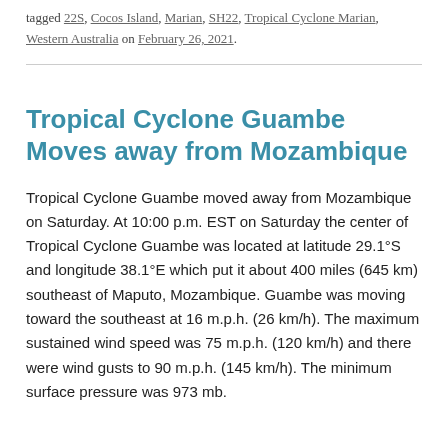tagged 22S, Cocos Island, Marian, SH22, Tropical Cyclone Marian, Western Australia on February 26, 2021.
Tropical Cyclone Guambe Moves away from Mozambique
Tropical Cyclone Guambe moved away from Mozambique on Saturday. At 10:00 p.m. EST on Saturday the center of Tropical Cyclone Guambe was located at latitude 29.1°S and longitude 38.1°E which put it about 400 miles (645 km) southeast of Maputo, Mozambique. Guambe was moving toward the southeast at 16 m.p.h. (26 km/h). The maximum sustained wind speed was 75 m.p.h. (120 km/h) and there were wind gusts to 90 m.p.h. (145 km/h). The minimum surface pressure was 973 mb.